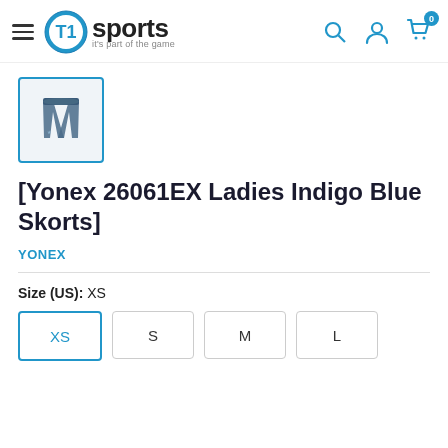T1 Sports — it's part of the game
[Figure (photo): Thumbnail image of Yonex 26061EX Ladies Indigo Blue Skorts, showing a blue/navy sports skirt with built-in shorts]
[Yonex 26061EX Ladies Indigo Blue Skorts]
YONEX
Size (US): XS
XS  S  M  L